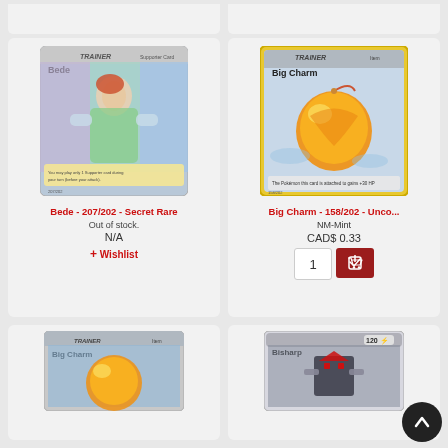[Figure (photo): Top partial product cards (Bede and another card, tops cropped)]
[Figure (photo): Pokemon Trading Card: Bede - 207/202 - Secret Rare, rainbow holographic trainer card]
Bede - 207/202 - Secret Rare
Out of stock.
N/A
+ Wishlist
[Figure (photo): Pokemon Trading Card: Big Charm - 158/202 - Uncommon, item card with orange charm]
Big Charm - 158/202 - Unco...
NM-Mint
CAD$ 0.33
[Figure (photo): Bottom partial card showing Big Charm trainer card]
[Figure (photo): Bottom partial card showing Bisharp 120 card]